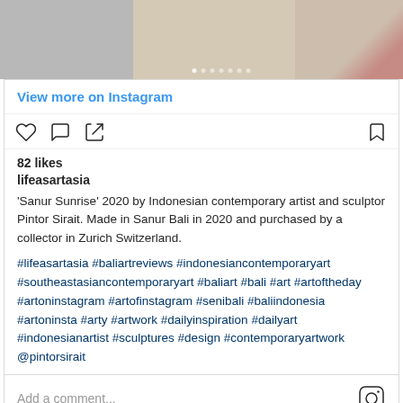[Figure (photo): Top portion of an Instagram post showing two images side by side — left is a gray/light image, right shows a reddish sculpture on a light background, with carousel dots at the bottom]
View more on Instagram
82 likes
lifeasartasia
'Sanur Sunrise' 2020 by Indonesian contemporary artist and sculptor Pintor Sirait. Made in Sanur Bali in 2020 and purchased by a collector in Zurich Switzerland.
#lifeasartasia #baliartreviews #indonesiancontemporaryart #southeastasiancontemporaryart #baliart #bali #art #artoftheday #artoninstagram #artofinstagram #senibali #baliindonesia #artoninsta #arty #artwork #dailyinspiration #dailyart #indonesianartist #sculptures #design #contemporaryartwork @pintorsirait
Add a comment...